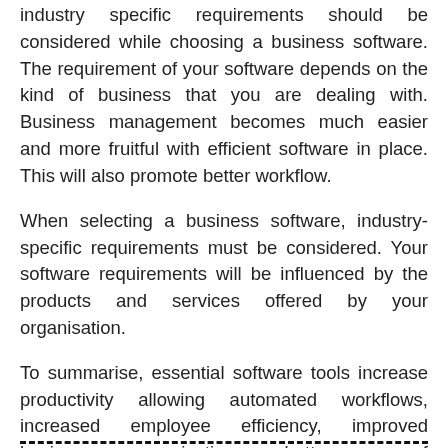industry specific requirements should be considered while choosing a business software. The requirement of your software depends on the kind of business that you are dealing with. Business management becomes much easier and more fruitful with efficient software in place. This will also promote better workflow.
When selecting a business software, industry-specific requirements must be considered. Your software requirements will be influenced by the products and services offered by your organisation.
To summarise, essential software tools increase productivity allowing automated workflows, increased employee efficiency, improved business communication, a better grasp of business operations and data, and much more.